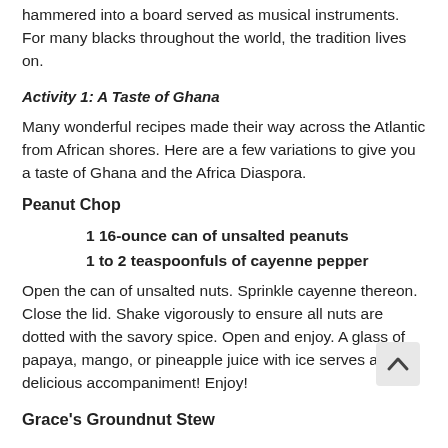hammered into a board served as musical instruments. For many blacks throughout the world, the tradition lives on.
Activity 1: A Taste of Ghana
Many wonderful recipes made their way across the Atlantic from African shores. Here are a few variations to give you a taste of Ghana and the Africa Diaspora.
Peanut Chop
1 16-ounce can of unsalted peanuts
1 to 2 teaspoonfuls of cayenne pepper
Open the can of unsalted nuts. Sprinkle cayenne thereon. Close the lid. Shake vigorously to ensure all nuts are dotted with the savory spice. Open and enjoy. A glass of papaya, mango, or pineapple juice with ice serves as a delicious accompaniment! Enjoy!
Grace's Groundnut Stew